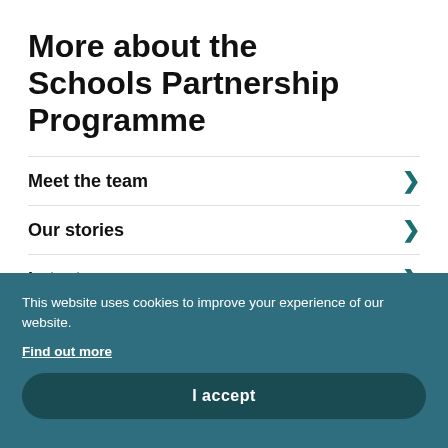More about the Schools Partnership Programme
Meet the team
Our stories
Latest news
Contact us
This website uses cookies to improve your experience of our website.
Find out more
I accept